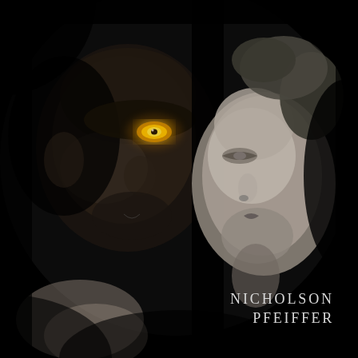[Figure (photo): Movie poster for Wolf (1994). Dark atmospheric image showing two faces emerging from darkness: on the left, a menacing male figure with a single glowing yellow eye (Jack Nicholson), and on the right, a woman with her face tilted upward (Michelle Pfeiffer), rendered in high-contrast black and white with deep black background. Bottom right shows actor names in silver-gray serif text.]
NICHOLSON
PFEIFFER